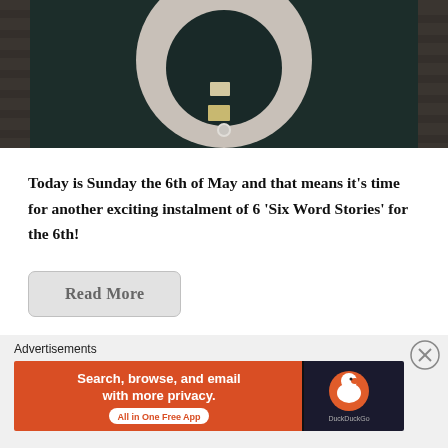[Figure (photo): Dark teal/black wooden door with a large white circle painted on it, with a smaller dark inner circle (resembling the number 6 or a target). Brick wall visible on the sides. A doorknob at the bottom center.]
Today is Sunday the 6th of May and that means it's time for another exciting instalment of 6 'Six Word Stories' for the 6th!
Read More
Advertisements
[Figure (screenshot): DuckDuckGo advertisement banner: orange/red left section with text 'Search, browse, and email with more privacy. All in One Free App' and dark right section with DuckDuckGo logo duck icon and 'DuckDuckGo' text.]